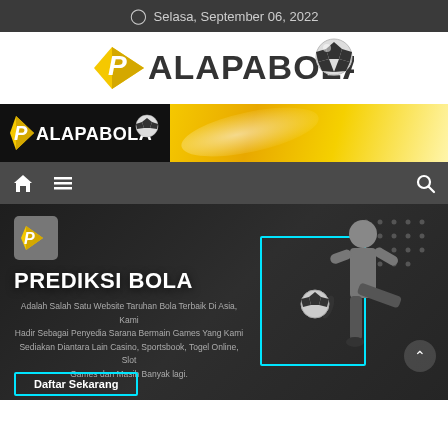Selasa, September 06, 2022
[Figure (logo): PALAPABOLA logo with yellow diamond/arrow shape and soccer ball]
[Figure (screenshot): PALAPABOLA banner strip with logo on black background left and yellow gradient right]
[Figure (screenshot): Navigation bar with home icon, hamburger menu, and search icon on dark background]
[Figure (photo): Hero section showing PREDIKSI BOLA text with soccer player kicking, cyan neon frame, and Daftar Sekarang CTA button]